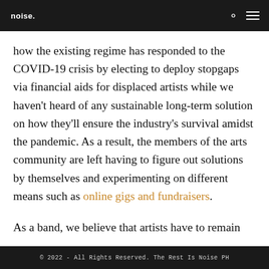noise.
how the existing regime has responded to the COVID-19 crisis by electing to deploy stopgaps via financial aids for displaced artists while we haven't heard of any sustainable long-term solution on how they'll ensure the industry's survival amidst the pandemic. As a result, the members of the arts community are left having to figure out solutions by themselves and experimenting on different means such as online gigs and fundraisers.
As a band, we believe that artists have to remain
© 2022 - All Rights Reserved. The Rest Is Noise PH